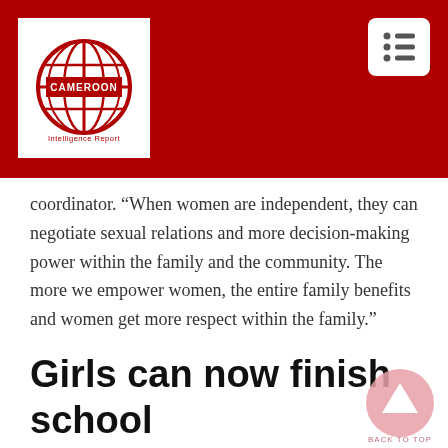[Figure (logo): Cameroon Intelligence Report globe logo on white background in red header bar]
coordinator. “When women are independent, they can negotiate sexual relations and more decision-making power within the family and the community. The more we empower women, the entire family benefits and women get more respect within the family.”
Girls can now finish school
When public services are inaccessible, it penalizes the poorest of the poor.
An estimated 3,000 children living in communities along the road project do not have birth certificates. Since many women don’t give birth in hospitals, a child doesn’t get immediately